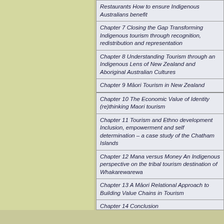| Restaurants How to ensure Indigenous Australians benefit |
| Chapter 7 Closing the Gap Transforming Indigenous tourism through recognition, redistribution and representation |
| Chapter 8 Understanding Tourism through an Indigenous Lens of New Zealand and Aboriginal Australian Cultures |
| Chapter 9 Māori Tourism in New Zealand |
| Chapter 10 The Economic Value of Identity (re)thinking Maori tourism |
| Chapter 11 Tourism and Ethno development Inclusion, empowerment and self determination – a case study of the Chatham Islands |
| Chapter 12 Mana versus Money An Indigenous perspective on the tribal tourism destination of Whakarewarewa |
| Chapter 13 A Māori Relational Approach to Building Value Chains in Tourism |
| Chapter 14 Conclusion |
* An automatic discount will be applied on the che